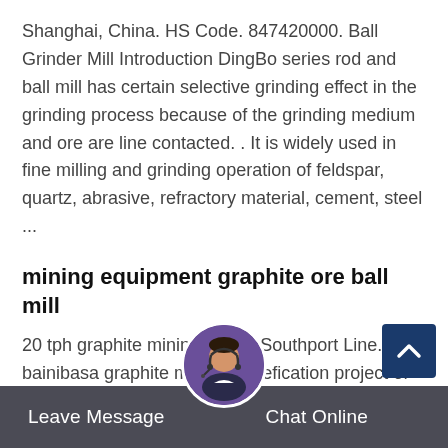Shanghai, China. HS Code. 847420000. Ball Grinder Mill Introduction DingBo series rod and ball mill has certain selective grinding effect in the grinding process because of the grinding medium and ore are line contacted. . It is widely used in fine milling and grinding operation of feldspar, quartz, abrasive, refractory material, cement, steel ...
mining equipment graphite ore ball mill
20 tph graphite mining plant - Southport Line. 63 bainibasa graphite mining benefication project of m/s pradhan industries.nouveau ... hard rock mill cil leach 20tph minimum 4g/t au.nouveau monde starts graphite ... supplier of industrial plant machinery for metallic metallic mineral ore mining mill equipment ball mill sold to more than 20 countries.
Leave Message   Chat Online